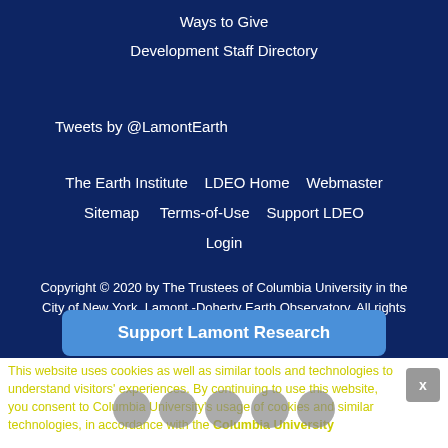Ways to Give
Development Staff Directory
Tweets by @LamontEarth
The Earth Institute   LDEO Home   Webmaster
Sitemap   Terms-of-Use   Support LDEO
Login
Copyright © 2020 by The Trustees of Columbia University in the City of New York, Lamont -Doherty Earth Observatory. All rights reserved.
Support Lamont Research
This website uses cookies as well as similar tools and technologies to understand visitors' experiences. By continuing to use this website, you consent to Columbia University's usage of cookies and similar technologies, in accordance with the Columbia University